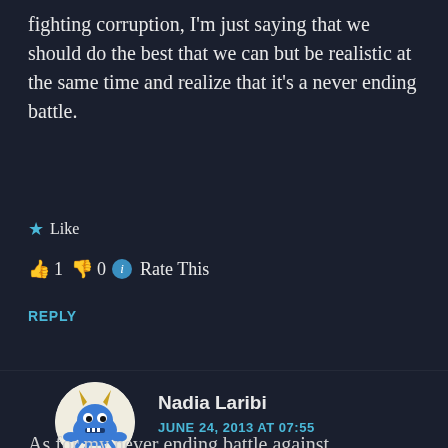fighting corruption, I'm just saying that we should do the best that we can but be realistic at the same time and realize that it's a never ending battle.
★ Like
👍 1 👎 0 ℹ Rate This
REPLY
[Figure (illustration): Circular avatar with a blue crab/monster creature with yellow horns on a white background]
Nadia Laribi
JUNE 24, 2013 AT 07:55
Point taken Mihai C.
As for my never ending battle against